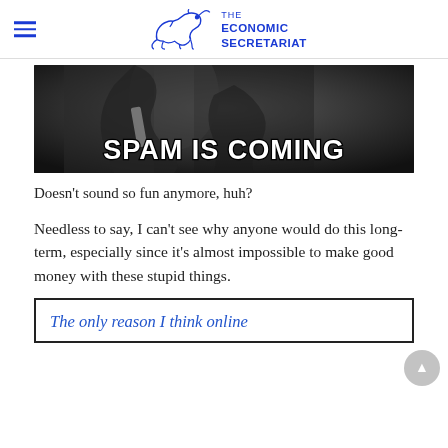THE ECONOMIC SECRETARIAT
[Figure (photo): A dark-cloaked figure holding a sword with overlaid bold white text reading 'SPAM IS COMING', styled as a Game of Thrones meme.]
Doesn't sound so fun anymore, huh?
Needless to say, I can't see why anyone would do this long-term, especially since it's almost impossible to make good money with these stupid things.
The only reason I think online